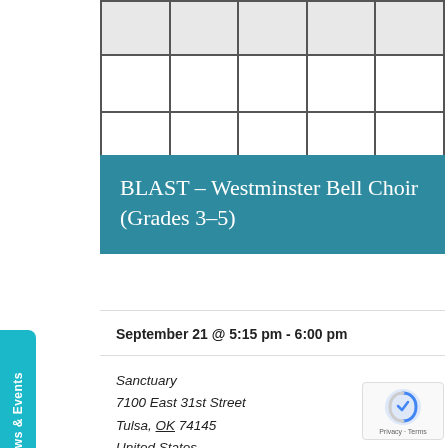[Figure (table-as-image): Grid table with 5 columns, header row in light gray and two body rows with empty white cells, dark borders]
BLAST – Westminster Bell Choir (Grades 3–5)
September 21 @ 5:15 pm - 6:00 pm
Sanctuary
7100 East 31st Street
Tulsa, OK 74145
United States
News & Events